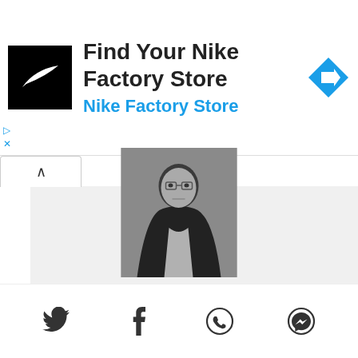[Figure (screenshot): Nike Factory Store advertisement banner with Nike logo, text 'Find Your Nike Factory Store' and 'Nike Factory Store', and a blue navigation arrow diamond icon on the right]
[Figure (photo): Black and white portrait photo of Tim Schofield]
Tim Schofield
Founder Blogger and Owner
Founder and Owner of Bonnefication. A blog dedicated to custom and modified Hinckley Triumph Classic Twins since 2008.
[Figure (illustration): Social media icons: mail/envelope, Facebook f, Twitter bird, Instagram camera]
[Figure (illustration): Bottom bar with social icons: Twitter bird, Facebook f, WhatsApp, Messenger]